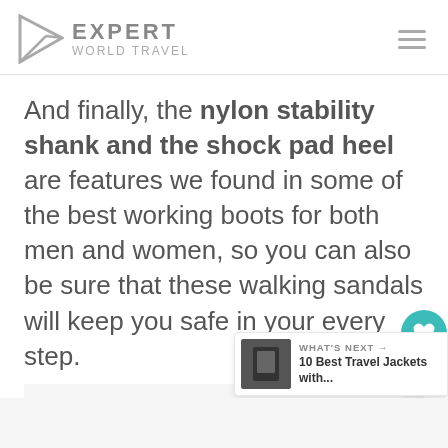EXPERT WORLD TRAVEL
And finally, the nylon stability shank and the shock pad heel are features we found in some of the best working boots for both men and women, so you can also be sure that these walking sandals will keep you safe in your every step.
[Figure (screenshot): UI panel with heart/like button (teal), count 41, and share button]
[Figure (screenshot): What's Next panel: 10 Best Travel Jackets with...]